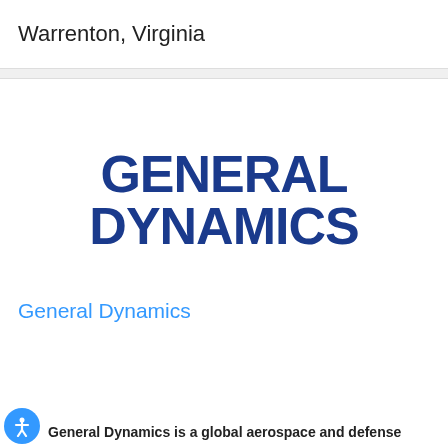Warrenton, Virginia
[Figure (logo): General Dynamics logo — bold dark blue condensed sans-serif text reading GENERAL DYNAMICS on two lines]
General Dynamics
General Dynamics is a global aerospace and defense